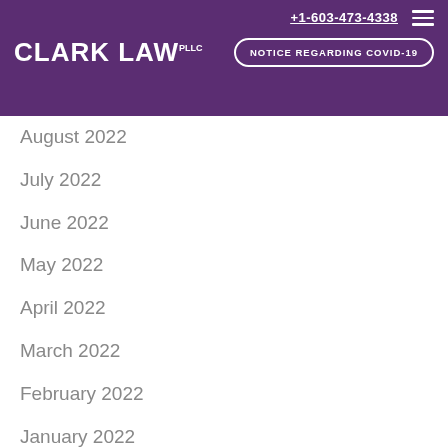+1-603-473-4338 | CLARK LAW PLLC | NOTICE REGARDING COVID-19
August 2022
July 2022
June 2022
May 2022
April 2022
March 2022
February 2022
January 2022
December 2021
November 2021